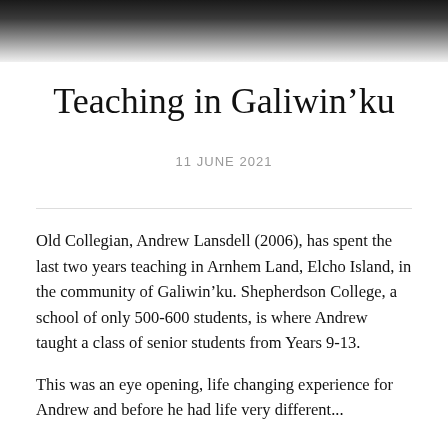[Figure (photo): Blurred dark photo strip at top of page, partially visible image of people or outdoor scene]
Teaching in Galiwin’ku
11 JUNE 2021
Old Collegian, Andrew Lansdell (2006), has spent the last two years teaching in Arnhem Land, Elcho Island, in the community of Galiwin’ku. Shepherdson College, a school of only 500-600 students, is where Andrew taught a class of senior students from Years 9-13.
This was an eye opening, life changing experience for Andrew and before he had life very different...